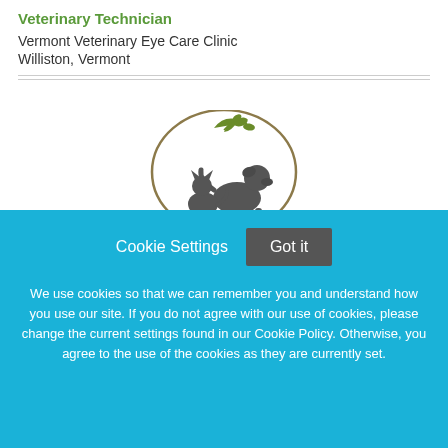Veterinary Technician
Vermont Veterinary Eye Care Clinic
Williston, Vermont
[Figure (logo): Burlington animal clinic logo with silhouettes of a cat and dog under an arch with leaves, and the text BURLINGTON below]
Cookie Settings
Got it
We use cookies so that we can remember you and understand how you use our site. If you do not agree with our use of cookies, please change the current settings found in our Cookie Policy. Otherwise, you agree to the use of the cookies as they are currently set.